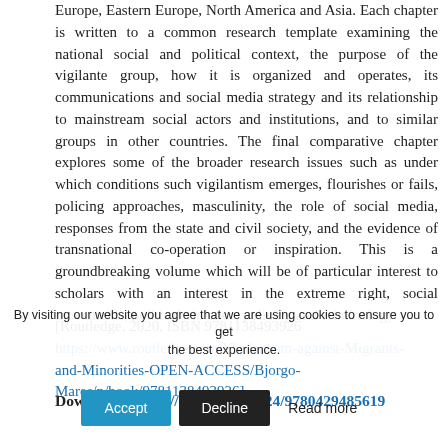Europe, Eastern Europe, North America and Asia. Each chapter is written to a common research template examining the national social and political context, the purpose of the vigilante group, how it is organized and operates, its communications and social media strategy and its relationship to mainstream social actors and institutions, and to similar groups in other countries. The final comparative chapter explores some of the broader research issues such as under which conditions such vigilantism emerges, flourishes or fails, policing approaches, masculinity, the role of social media, responses from the state and civil society, and the evidence of transnational co-operation or inspiration. This is a groundbreaking volume which will be of particular interest to scholars with an interest in the extreme right, social movements, political violence, policing and criminology.
[Routledge, 2020, ISBN 9781138493926 https://www.routledge.com/Vigilantism-against-Migrants-and-Minorities-OPEN-ACCESS/Bjorgo-Mares/p/book/9781138493926]
Download: https://doi.org/10.4324/9780429485619
By visiting our website you agree that we are using cookies to ensure you to get the best experience.